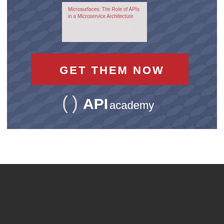[Figure (illustration): Advertisement banner for API Academy with a dark blue metallic scale/feather texture background. Contains a white label box with red text reading 'Microsurfaces: The Role of APIs in a Microservice Architecture', a red 'GET THEM NOW' call-to-action button, and the API academy logo with parentheses symbol.]
Microsurfaces: The Role of APIs in a Microservice Architecture
GET THEM NOW